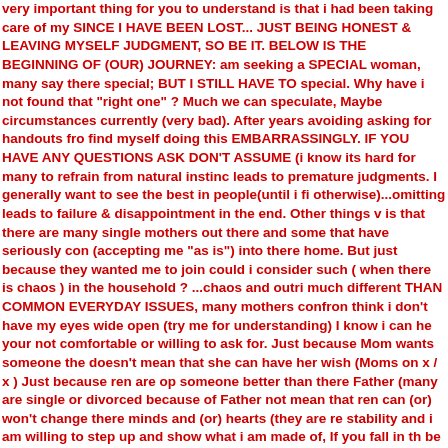very important thing for you to understand is that i had been taking care of my SINCE I HAVE BEEN LOST... JUST BEING HONEST & LEAVING MYSELF JUDGMENT, SO BE IT. BELOW IS THE BEGINNING OF (OUR) JOURNEY: am seeking a SPECIAL woman, many say there special; BUT I STILL HAVE TO special. Why have i not found that "right one" ? Much we can speculate, Maybe circumstances currently (very bad). After years avoiding asking for handouts fro find myself doing this EMBARRASSINGLY. IF YOU HAVE ANY QUESTIONS ASK DON'T ASSUME (i know its hard for many to refrain from natural instinc leads to premature judgments. I generally want to see the best in people(until i fi otherwise)...omitting leads to failure & disappointment in the end. Other things v is that there are many single mothers out there and some that have seriously con (accepting me "as is") into there home. But just because they wanted me to join could i consider such ( when there is chaos ) in the household ? ...chaos and outri much different THAN COMMON EVERYDAY ISSUES, many mothers confron think i don't have my eyes wide open (try me for understanding) I know i can he your not comfortable or willing to ask for. Just because Mom wants someone the doesn't mean that she can have her wish (Moms on x / x ) Just because ren are op someone better than there Father (many are single or divorced because of Father not mean that ren can (or) won't change there minds and (or) hearts (they are re stability and i am willing to step up and show what i am made of, If you fall in th be important for (us) (all) to feel comfortable... BECAUSE IF THERE NOT OPE HAVE (NO) CHANCE. If none of this applies (we) have less toKangaroo Island consider, Tremonton UT milf personals however i have crossed paths with wome home and are not good candidates for me (likewise). IT IS TOUGH SURVIVIN (COUNT YOUR BLESSINGS IF YOUR IN A BETTER PLACE OVERALL) I U (SACRIFICED MUCH, IN THE PRIME OF MY LIFE TO CARE FOR MY FA REGRET TO THIS DAY, BUT CERTAINLY THIS HAS PLAYED A MAJOR R CURRENT CIRCUMSTANCES. If anything i write above, be a balancing issue i importance (the who dont better GOD willing) You i deal in... and it is